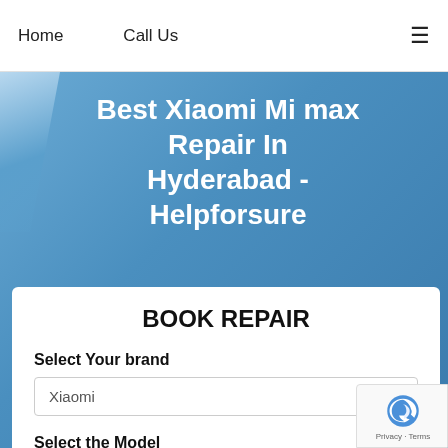Home    Call Us    ≡
Best Xiaomi Mi max Repair In Hyderabad - Helpforsure
BOOK REPAIR
Select Your brand
Xiaomi
Select the Model